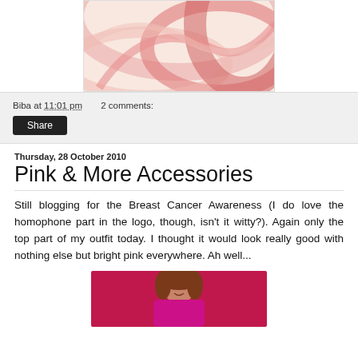[Figure (illustration): Pink abstract swirling curves and circles illustration, partially cropped at top]
Biba at 11:01 pm   2 comments:
[Figure (other): Share button]
Thursday, 28 October 2010
Pink & More Accessories
Still blogging for the Breast Cancer Awareness (I do love the homophone part in the logo, though, isn't it witty?). Again only the top part of my outfit today. I thought it would look really good with nothing else but bright pink everywhere. Ah well...
[Figure (photo): Photo of a woman wearing a bright pink/magenta top, partially cropped, showing upper body and face with brown hair]